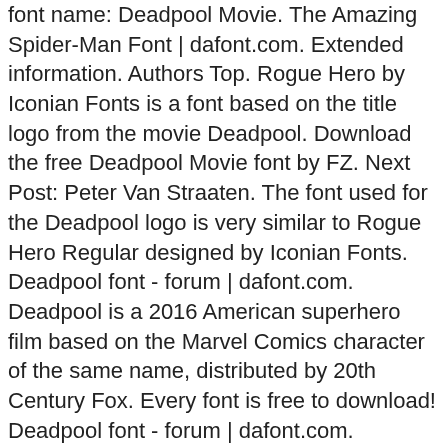font name: Deadpool Movie. The Amazing Spider-Man Font | dafont.com. Extended information. Authors Top. Rogue Hero by Iconian Fonts is a font based on the title logo from the movie Deadpool. Download the free Deadpool Movie font by FZ. Next Post: Peter Van Straaten. The font used for the Deadpool logo is very similar to Rogue Hero Regular designed by Iconian Fonts. Deadpool font - forum | dafont.com. Deadpool is a 2016 American superhero film based on the Marvel Comics character of the same name, distributed by 20th Century Fox. Every font is free to download! Deadpool font - forum | dafont.com. Homoarakhan. Continually updated with coffee and music. Login | Register. Click to find the best 7 free fonts in the Black Panther style. Download BirchStd font free! Eats holes for breakfast lunch and dinner. Ad by Iconian Fonts. m2y2k Dec 15, 2015. The fonts are browsable by those categories (shown near the top and bottom of each page). 16,000+ commercial-use fonts. It is the eighth installment of the X-Men film series, and the first standalone Deadpool film. The